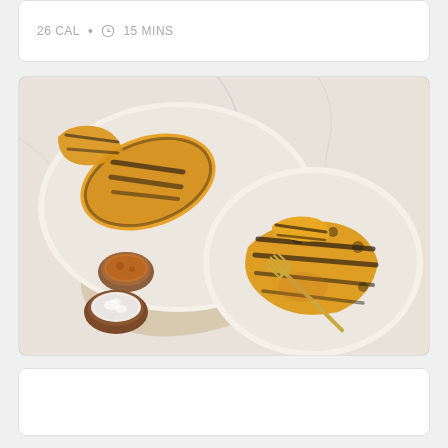26 CAL • 15 MINS
[Figure (photo): Overhead photo of grilled pineapple slices served on white ceramic plates on a marble surface, with small wooden bowls containing cinnamon and shredded coconut, and a linen napkin. A gold fork rests on the plate with pineapple. The pineapple has visible grill marks and caramelization.]